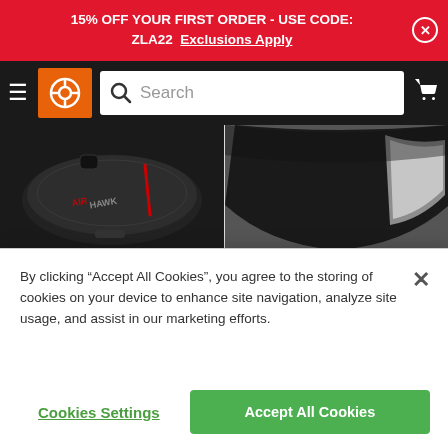15% OFF YOUR FIRST ORDER - USE CODE: ZLA22  Exclusions Apply
[Figure (screenshot): Navigation bar with hamburger menu, orange logo with wheel icon, search bar, and cart icon on dark background]
[Figure (photo): Airhawk R Cruiser Seat Pad product image showing black mesh seat cushion with AIRHAWK branding]
UNIVERSAL FIT
Airhawk R Cruiser Seat Pad
[Figure (photo): Tour Master Elite Motorcycle seat cover product image showing black and white motorcycle seat]
UNIVERSAL FIT
Tour Master Elite Motorcycle
By clicking “Accept All Cookies”, you agree to the storing of cookies on your device to enhance site navigation, analyze site usage, and assist in our marketing efforts.
Cookies Settings
Accept All Cookies